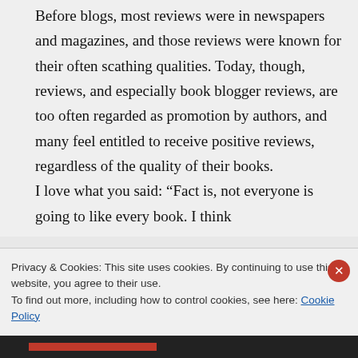Before blogs, most reviews were in newspapers and magazines, and those reviews were known for their often scathing qualities. Today, though, reviews, and especially book blogger reviews, are too often regarded as promotion by authors, and many feel entitled to receive positive reviews, regardless of the quality of their books.
I love what you said: “Fact is, not everyone is going to like every book. I think
Privacy & Cookies: This site uses cookies. By continuing to use this website, you agree to their use.
To find out more, including how to control cookies, see here: Cookie Policy
Close and accept